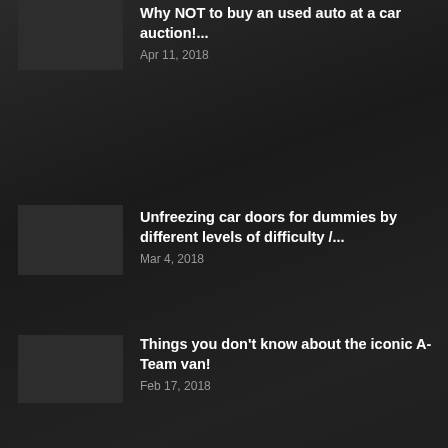Why NOT to buy an used auto at a car auction!...
Apr 11, 2018
Unfreezing car doors for dummies by different levels of difficulty /...
Mar 4, 2018
Things you don’t know about the iconic A-Team van!
Feb 17, 2018
POPULAR POSTS
Funny car acronym for each brand
Jul 30, 2012